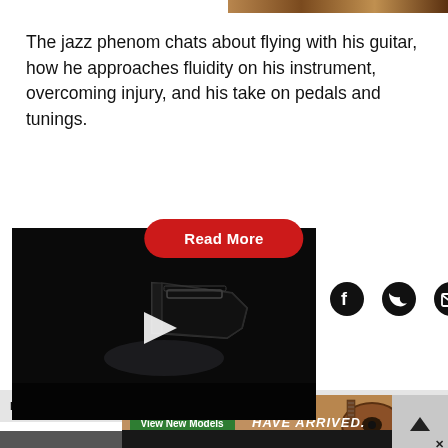[Figure (photo): Partial guitar photo at top right edge]
The jazz phenom chats about flying with his guitar, how he approaches fluidity on his instrument, overcoming injury, and his take on pedals and tunings.
[Figure (screenshot): Red 'Read More' button]
[Figure (screenshot): Video player with black background showing a 3D guitar body and white play button triangle in center]
[Figure (screenshot): Social share icons: Facebook circle, Twitter bird, Email envelope]
[Figure (screenshot): Advertisement banner showing guitar with 'View New Models' green button and 'HAVE ARRIVED.' text]
[Figure (logo): Two-Rock Amplifiers advertisement with script logo on dark background]
[Figure (screenshot): Back-to-top arrow button in gray box]
LESS...
...TEST